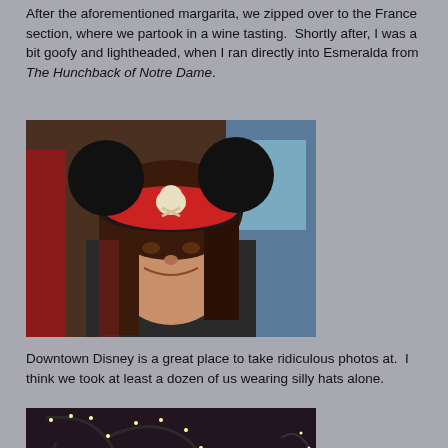After the aforementioned margarita, we zipped over to the France section, where we partook in a wine tasting. Shortly after, I was a bit goofy and lightheaded, when I ran directly into Esmeralda from The Hunchback of Notre Dame.
[Figure (photo): Young woman wearing a pirate-themed Mickey Mouse ears hat with red bandana and skull-and-crossbones, smiling at the camera indoors at Downtown Disney.]
Downtown Disney is a great place to take ridiculous photos at. I think we took at least a dozen of us wearing silly hats alone.
[Figure (photo): Interior shot of a Disney store or attraction showing decorative metalwork with lights and whimsical swirling designs, resembling a fairy or fantasy theme display.]